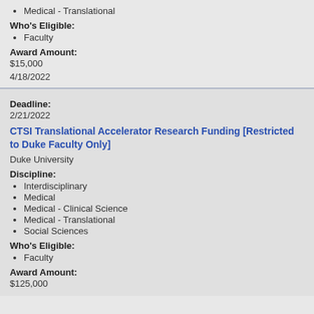Medical - Translational
Who's Eligible:
Faculty
Award Amount:
$15,000
4/18/2022
Deadline:
2/21/2022
CTSI Translational Accelerator Research Funding [Restricted to Duke Faculty Only]
Duke University
Discipline:
Interdisciplinary
Medical
Medical - Clinical Science
Medical - Translational
Social Sciences
Who's Eligible:
Faculty
Award Amount:
$125,000